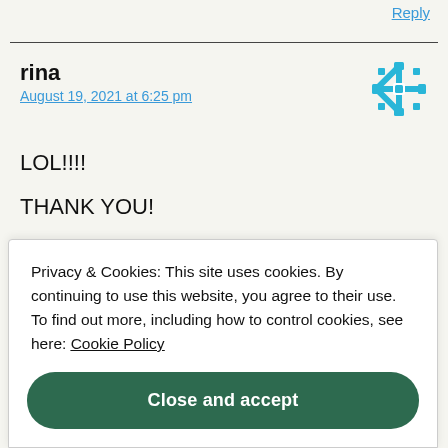Reply
rina
August 19, 2021 at 6:25 pm
LOL!!!!
THANK YOU!
Reply
Privacy & Cookies: This site uses cookies. By continuing to use this website, you agree to their use.
To find out more, including how to control cookies, see here: Cookie Policy
Close and accept